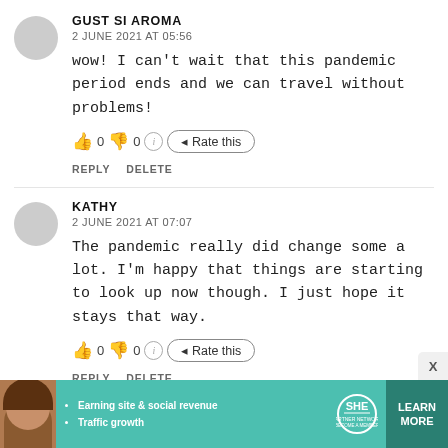GUST SI AROMA
2 JUNE 2021 AT 05:56
wow! I can't wait that this pandemic period ends and we can travel without problems!
👍 0 👎 0 ℹ Rate this
REPLY  DELETE
KATHY
2 JUNE 2021 AT 07:07
The pandemic really did change some a lot. I'm happy that things are starting to look up now though. I just hope it stays that way.
👍 0 👎 0 ℹ Rate this
REPLY  DELETE
[Figure (infographic): SHE Partner Network advertisement banner with woman's photo, bullet points about earning site & social revenue and traffic growth, SHE logo, and LEARN MORE button]